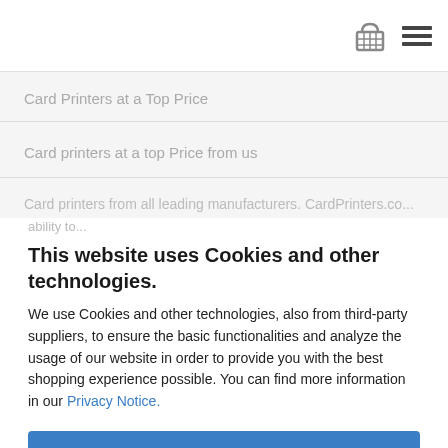[Figure (other): Shopping cart icon and hamburger menu icon in top navigation bar]
Card Printers at a Top Price
Card printers at a top Price from us
Card printers from all leading manufacturers. CardPrinters.co...
This website uses Cookies and other technologies.
We use Cookies and other technologies, also from third-party suppliers, to ensure the basic functionalities and analyze the usage of our website in order to provide you with the best shopping experience possible. You can find more information in our Privacy Notice.
Accept all
More information